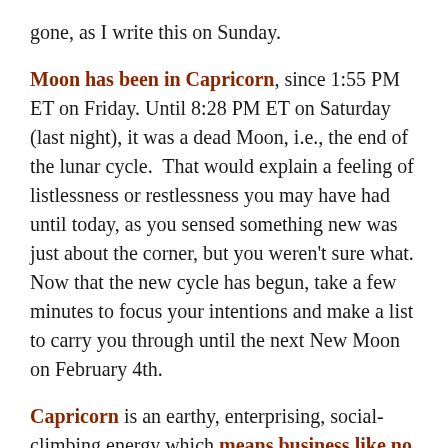gone, as I write this on Sunday.
Moon has been in Capricorn, since 1:55 PM ET on Friday. Until 8:28 PM ET on Saturday (last night), it was a dead Moon, i.e., the end of the lunar cycle.  That would explain a feeling of listlessness or restlessness you may have had until today, as you sensed something new was just about the corner, but you weren't sure what. Now that the new cycle has begun, take a few minutes to focus your intentions and make a list to carry you through until the next New Moon on February 4th.
Capricorn is an earthy, enterprising, social-climbing energy which means business like no